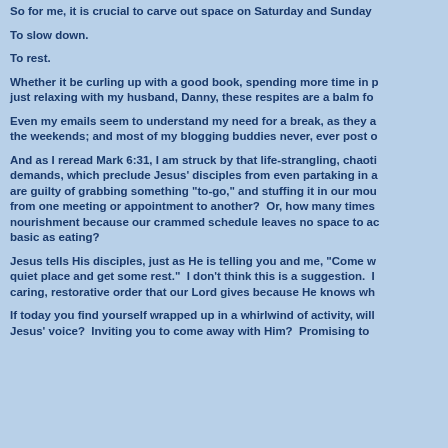So for me, it is crucial to carve out space on Saturday and Sunday
To slow down.
To rest.
Whether it be curling up with a good book, spending more time in p just relaxing with my husband, Danny, these respites are a balm fo
Even my emails seem to understand my need for a break, as they a the weekends; and most of my blogging buddies never, ever post o
And as I reread Mark 6:31, I am struck by that life-strangling, chaoti demands, which preclude Jesus' disciples from even partaking in a are guilty of grabbing something "to-go," and stuffing it in our mou from one meeting or appointment to another?  Or, how many times nourishment because our crammed schedule leaves no space to ac basic as eating?
Jesus tells His disciples, just as He is telling you and me, "Come w quiet place and get some rest."  I don't think this is a suggestion.  I caring, restorative order that our Lord gives because He knows wh
If today you find yourself wrapped up in a whirlwind of activity, will Jesus' voice?  Inviting you to come away with Him?  Promising to